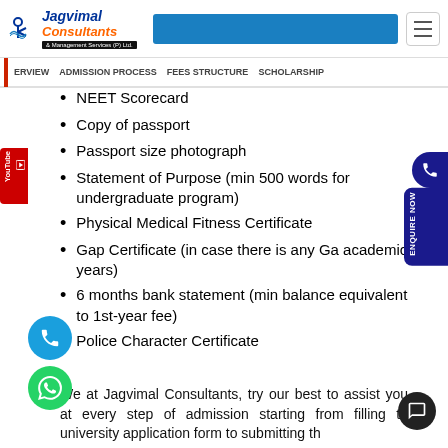[Figure (logo): Jagvimal Consultants & Management Services (P) Ltd. logo with blue and orange text]
ERVIEW   ADMISSION PROCESS   FEES STRUCTURE   SCHOLARSHIP
NEET Scorecard
Copy of passport
Passport size photograph
Statement of Purpose (min 500 words for undergraduate program)
Physical Medical Fitness Certificate
Gap Certificate (in case there is any Ga academic years)
6 months bank statement (min balance equivalent to 1st-year fee)
Police Character Certificate
We at Jagvimal Consultants, try our best to assist you at every step of admission starting from filling the university application form to submitting the